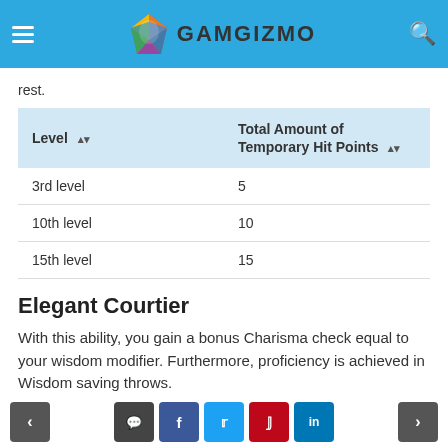[Figure (logo): GameGizmo website header with logo, hamburger menu, and search icon on blue background]
rest.
| Level | Total Amount of Temporary Hit Points |
| --- | --- |
| 3rd level | 5 |
| 10th level | 10 |
| 15th level | 15 |
Elegant Courtier
With this ability, you gain a bonus Charisma check equal to your wisdom modifier. Furthermore, proficiency is achieved in Wisdom saving throws.
< | comment | f | t | p | in | >